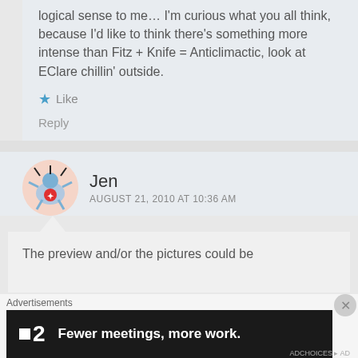logical sense to me… I'm curious what you all think, because I'd like to think there's something more intense than Fitz + Knife = Anticlimactic, look at EClare chillin' outside.
Like
Reply
Jen
AUGUST 21, 2010 AT 10:36 AM
The preview and/or the pictures could be
Advertisements
[Figure (screenshot): Advertisement banner: dark background with logo showing a small square followed by '2' and text 'Fewer meetings, more work.']